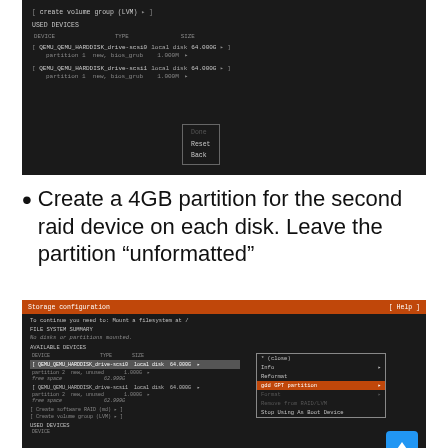[Figure (screenshot): Terminal screenshot showing USED DEVICES section with two QEMU HARDDISK drives (scsi0 and scsi1), each listed as local disk 64.000G with partition 1 new, bios_grub 1.000M. Bottom shows Done/Reset/Back buttons.]
Create a 4GB partition for the second raid device on each disk. Leave the partition “unformatted”
[Figure (screenshot): Storage configuration terminal screenshot showing FILE SYSTEM SUMMARY with no disks mounted, AVAILABLE DEVICES with two QEMU HARDDISK drives (scsi0 and scsi1) each 64.000G with partition 2 new unused 1.000G and free space 62.999G. A popup context menu shows options: (close), Info, Reformat, gdd GPT partition (highlighted in orange), Format, Remove from RAID/LVM, Stop Using As Boot Device. Bottom shows Create software RAID and Create volume group options, plus USED DEVICES header. Blue up-arrow button visible at bottom right.]